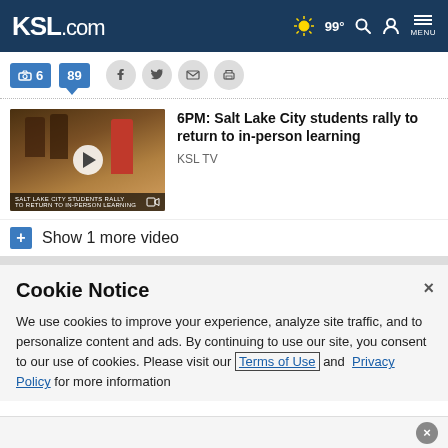KSL.com  99°  MENU
[Figure (screenshot): Toolbar with photo count badge (6), comment badge (89), Facebook, Twitter, email, and print social sharing icons]
[Figure (screenshot): Video thumbnail showing Salt Lake City students rally with play button overlay and lower-third caption bar]
6PM: Salt Lake City students rally to return to in-person learning
KSL TV
+ Show 1 more video
Cookie Notice
We use cookies to improve your experience, analyze site traffic, and to personalize content and ads. By continuing to use our site, you consent to our use of cookies. Please visit our Terms of Use and  Privacy Policy for more information